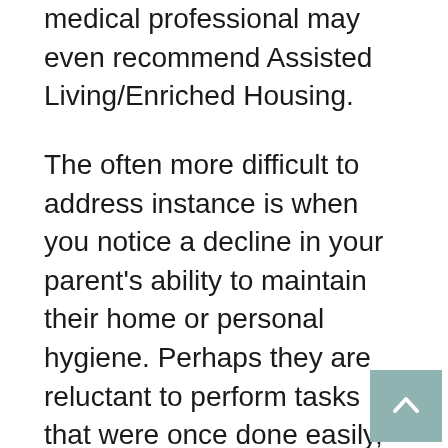medical professional may even recommend Assisted Living/Enriched Housing.
The often more difficult to address instance is when you notice a decline in your parent's ability to maintain their home or personal hygiene. Perhaps they are reluctant to perform tasks that were once done easily, such as grocery shopping or paying bills, and when asked, they make excuses.
A diagnosis of dementia or Alzheimer's disease is another case when a memory care community may be necessary to keep your parent healthy and safe. To help you